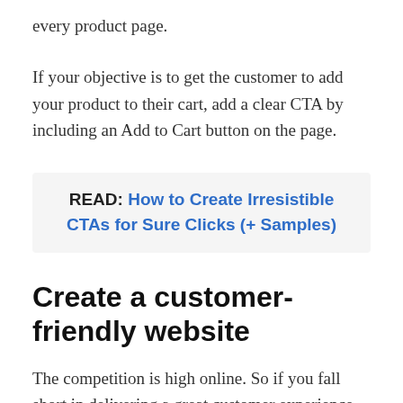every product page.
If your objective is to get the customer to add your product to their cart, add a clear CTA by including an Add to Cart button on the page.
READ: How to Create Irresistible CTAs for Sure Clicks (+ Samples)
Create a customer-friendly website
The competition is high online. So if you fall short in delivering a great customer experience,